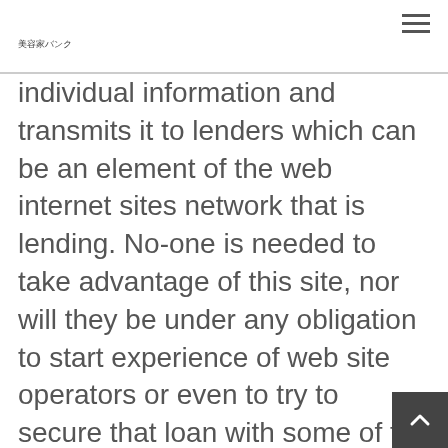美容家バンク
individual information and transmits it to lenders which can be an element of the web internet sites network that is lending. No-one is needed to take advantage of this site, nor will they be under any obligation to start experience of web site operators or even to try to secure that loan with some of the internet web sites lending lovers. Transmission of your economic and information that is personal the web site in not a way obligates loan providers to provide you that loan or jus